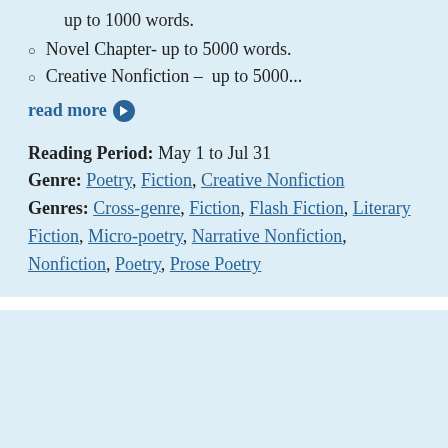up to 1000 words.
Novel Chapter- up to 5000 words.
Creative Nonfiction – up to 5000…
read more →
Reading Period:  May 1 to Jul 31
Genre:  Poetry, Fiction, Creative Nonfiction
Genres:  Cross-genre, Fiction, Flash Fiction, Literary Fiction, Micro-poetry, Narrative Nonfiction, Nonfiction, Poetry, Prose Poetry
[Figure (photo): A colorful collage image with multiple illustrated and photographic panels showing landscapes, abstract rainbow arch shape, and figures.]